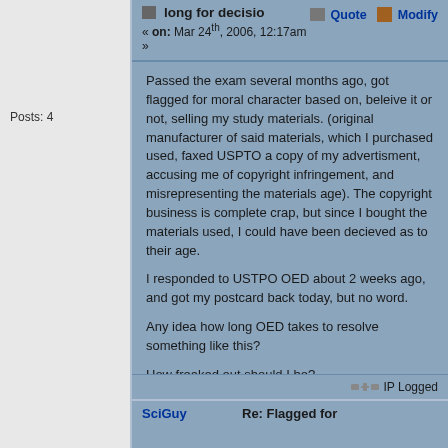long for decisio
« on: Mar 24th, 2006, 12:17am »
Quote   Modify
Posts: 4
Passed the exam several months ago, got flagged for moral character based on, beleive it or not, selling my study materials.  (original manufacturer of said materials, which I purchased used, faxed USPTO a copy of my advertisment,  accusing me of copyright infringement, and misrepresenting the materials age).  The copyright business is complete crap, but since I bought the materials used, I could have been decieved as to their age.

I responded to USTPO OED about 2 weeks ago, and got my postcard back today, but no word.

Any idea how long OED takes to resolve something like this?

How freaked out should I be?
IP Logged
SciGuy
Re: Flagged for